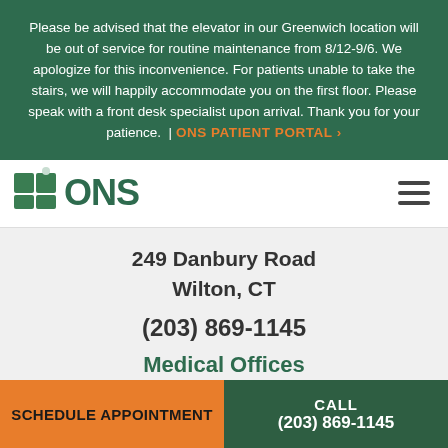Please be advised that the elevator in our Greenwich location will be out of service for routine maintenance from 8/12-9/6. We apologize for this inconvenience. For patients unable to take the stairs, we will happily accommodate you on the first floor. Please speak with a front desk specialist upon arrival. Thank you for your patience.  |  ONS PATIENT PORTAL ›
[Figure (logo): ONS logo with green puzzle-piece icon and green text 'ONS']
249 Danbury Road
Wilton, CT
(203) 869-1145
Medical Offices
Monday – Friday, 9:30-11:00 am and 1:30-
SCHEDULE APPOINTMENT
CALL
(203) 869-1145